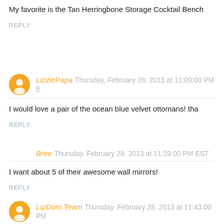My favorite is the Tan Herringbone Storage Cocktail Bench
REPLY
LizziePapa Thursday, February 28, 2013 at 11:09:00 PM E
I would love a pair of the ocean blue velvet ottomans! tha
REPLY
Bree Thursday, February 28, 2013 at 11:39:00 PM EST
I want about 5 of their awesome wall mirrors!
REPLY
LipDom Team Thursday, February 28, 2013 at 11:43:00 PM
Beautiful office!! I really like the Eugenia area rug.
REPLY